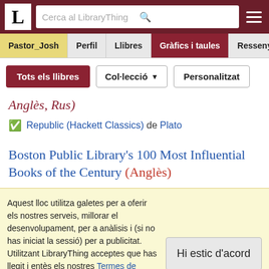LibraryThing navigation bar with logo, search box, and menu
Tabs: Pastor_Josh | Perfil | Llibres | Gràfics i taules | Ressenyes
Tots els llibres | Col·lecció ▼ | Personalitzat
Anglès, Rus)
✔ Republic (Hackett Classics) de Plato
Boston Public Library's 100 Most Influential Books of the Century (Anglès)
Aquest lloc utilitza galetes per a oferir els nostres serveis, millorar el desenvolupament, per a anàlisis i (si no has iniciat la sessió) per a publicitat. Utilitzant LibraryThing acceptes que has llegit i entès els nostres Termes de servei i política de privacitat. L'ús que facis del lloc i dels seus serveis està subjecte a aquestes polítiques i termes.